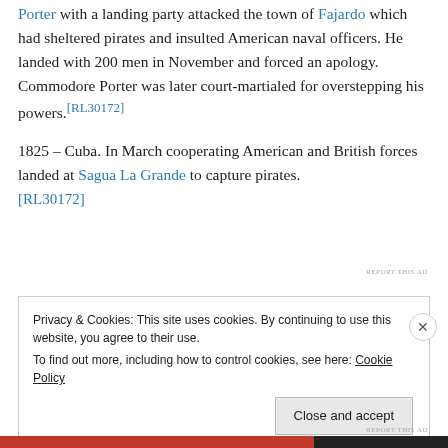Porter with a landing party attacked the town of Fajardo which had sheltered pirates and insulted American naval officers. He landed with 200 men in November and forced an apology. Commodore Porter was later court-martialed for overstepping his powers.[RL30172]
1825 – Cuba. In March cooperating American and British forces landed at Sagua La Grande to capture pirates. [RL30172]
Privacy & Cookies: This site uses cookies. By continuing to use this website, you agree to their use. To find out more, including how to control cookies, see here: Cookie Policy